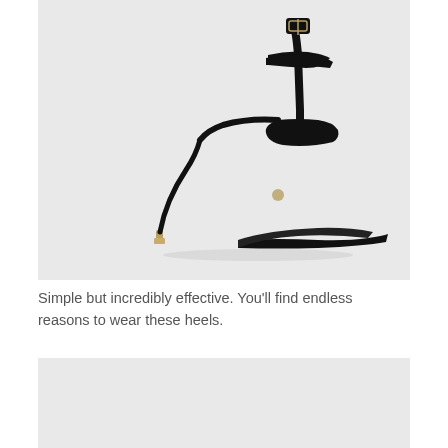[Figure (photo): Black stiletto sandal with ankle strap and gold metallic heel tip, photographed on a light gray background. The shoe features minimal straps — one toe strap and one ankle strap with a gold buckle.]
Simple but incredibly effective. You'll find endless reasons to wear these heels.
[Figure (photo): Partial view of a second product image, cropped at the bottom of the page, showing a light gray background.]